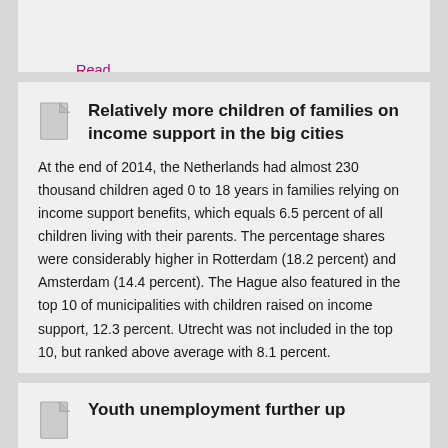Read publication
Relatively more children of families on income support in the big cities
At the end of 2014, the Netherlands had almost 230 thousand children aged 0 to 18 years in families relying on income support benefits, which equals 6.5 percent of all children living with their parents. The percentage shares were considerably higher in Rotterdam (18.2 percent) and Amsterdam (14.4 percent). The Hague also featured in the top 10 of municipalities with children raised on income support, 12.3 percent. Utrecht was not included in the top 10, but ranked above average with 8.1 percent.
Labour | 11-12-2015 | 08:12
Read publication
Youth unemployment further up